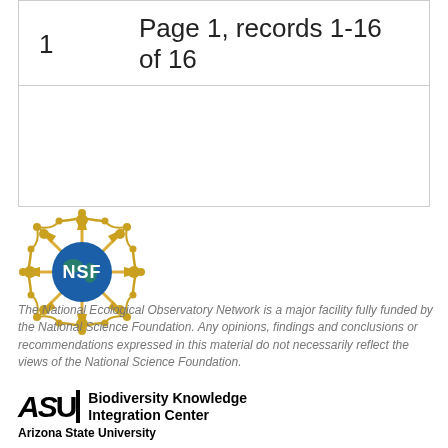1    Page 1, records 1-16 of 16
[Figure (logo): NSF (National Science Foundation) logo — gold starburst with blue globe center, white NSF text]
The National Ecological Observatory Network is a major facility fully funded by the National Science Foundation. Any opinions, findings and conclusions or recommendations expressed in this material do not necessarily reflect the views of the National Science Foundation.
[Figure (logo): ASU Biodiversity Knowledge Integration Center, Arizona State University logo]